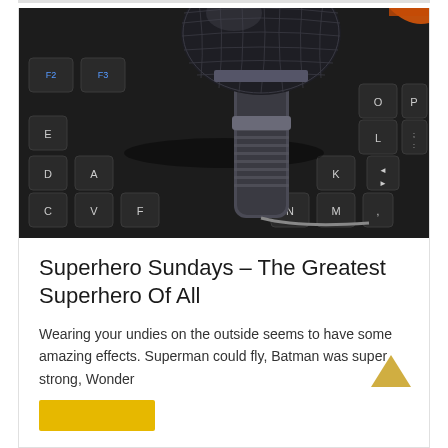[Figure (photo): Close-up photograph of a microphone with mesh grille resting on a black computer keyboard. The microphone is metallic silver/dark with a round ball head. Keyboard keys visible include letters D, E, C, V, F, A, N, M, K, L, O, P and others.]
Superhero Sundays – The Greatest Superhero Of All
Wearing your undies on the outside seems to have some amazing effects. Superman could fly, Batman was super strong, Wonder